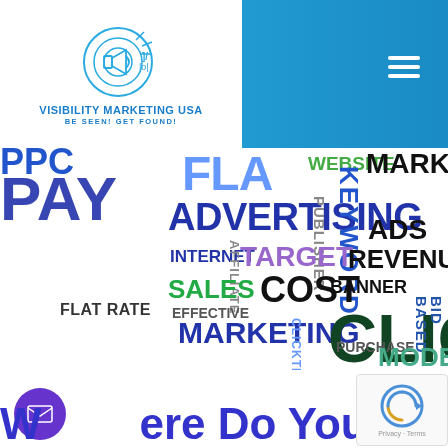[Figure (logo): Visibility Marketing USA logo with circular target/megaphone icon in blue, company name and tagline 'BE SEEN! GET FOUND!']
[Figure (infographic): Marketing word cloud with terms: PPC, PAY, FLA, WEBSITE, MARKET, ADVERTISING, INTERNET, TARGET, AFFILIATE, SALES, COST, PUBLISHER, KEYWORD, ADS, REVENUE, FLAT RATE, EFFECTIVE, MARKETING, BANNER, CLICKTHROUGH, CLICK, BID BASED, PURCHASE, MODEL]
Where Do You Want To Go